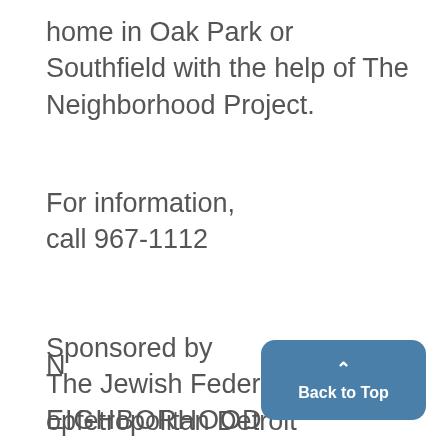home in Oak Park or Southfield with the help of The Neighborhood Project.
For information,
call 967-1112
Sponsored by
The Jewish Federation opfetropolitan Detroit
N
EIGHBORHOOD